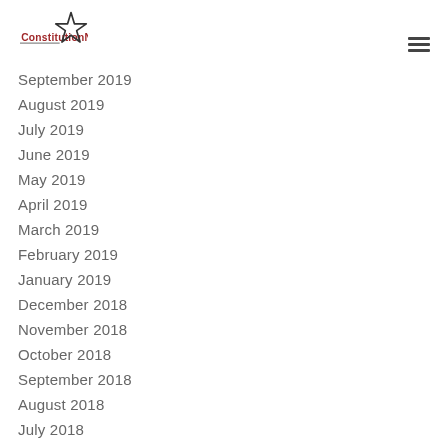ConstitutionNEXT
September 2019
August 2019
July 2019
June 2019
May 2019
April 2019
March 2019
February 2019
January 2019
December 2018
November 2018
October 2018
September 2018
August 2018
July 2018